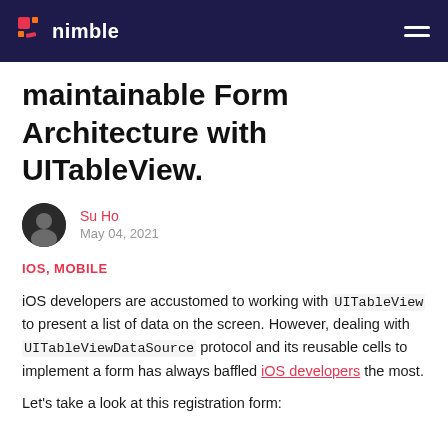nimble
maintainable Form Architecture with UITableView.
Su Ho
May 04, 2021
IOS, MOBILE
iOS developers are accustomed to working with UITableView to present a list of data on the screen. However, dealing with UITableViewDataSource protocol and its reusable cells to implement a form has always baffled iOS developers the most.
Let’s take a look at this registration form: